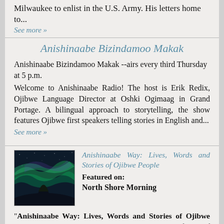Milwaukee to enlist in the U.S. Army. His letters home to...
See more »
Anishinaabe Bizindamoo Makak
Anishinaabe Bizindamoo Makak --airs every third Thursday at 5 p.m.
Welcome to Anishinaabe Radio! The host is Erik Redix, Ojibwe Language Director at Oshki Ogimaag in Grand Portage. A bilingual approach to storytelling, the show features Ojibwe first speakers telling stories in English and...
See more »
[Figure (photo): Northern lights / aurora borealis with silhouetted tree]
Anishinaabe Way: Lives, Words and Stories of Ojibwe People
Featured on:
North Shore Morning
"Anishinaabe Way: Lives, Words and Stories of Ojibwe People" is a radio series that explores the many facets of Ojibwe life. As part of the series you will hear the words and stories of Anishinaabe people, including artists, poets, doctors,